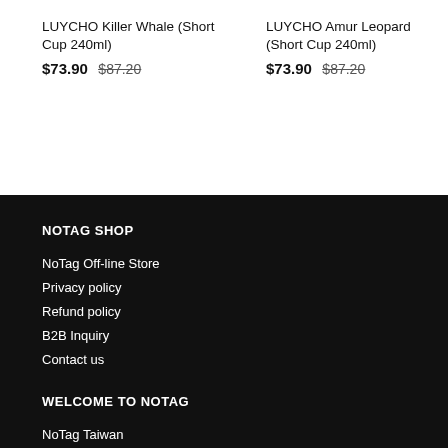LUYCHO Killer Whale (Short Cup 240ml) $73.90 $87.20
LUYCHO Amur Leopard (Short Cup 240ml) $73.90 $87.20
NOTAG SHOP
NoTag Off-line Store
Privacy policy
Refund policy
B2B Inquiry
Contact us
WELCOME TO NOTAG
NoTag Taiwan
NoTag Hong Kong